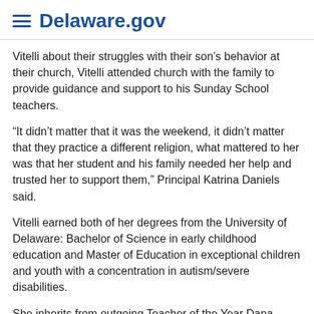Delaware.gov
Vitelli about their struggles with their son's behavior at their church, Vitelli attended church with the family to provide guidance and support to his Sunday School teachers.
“It didn’t matter that it was the weekend, it didn’t matter that they practice a different religion, what mattered to her was that her student and his family needed her help and trusted her to support them,” Principal Katrina Daniels said.
Vitelli earned both of her degrees from the University of Delaware: Bachelor of Science in early childhood education and Master of Education in exceptional children and youth with a concentration in autism/severe disabilities.
She inherits from outgoing Teacher of the Year Dana Bowe the responsibility of representing all teachers in